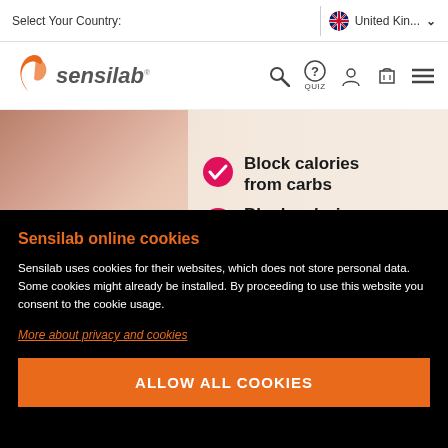Select Your Country: United Kin... ∨
[Figure (logo): Sensilab logo with orange butterfly/leaf icon and italic text 'sensilab']
[Figure (photo): Hero banner showing a person drinking from a glass with text overlays: checkmark 'Block calories from carbs' and checkmark 'Block calories from fat']
Sensilab online cookies
Sensilab uses cookies for their websites, which does not store personal data. Some cookies might already be installed. By proceeding to use this website you consent to the cookie usage.
More about privacy and cookies
ALLOW ALL COOKIES